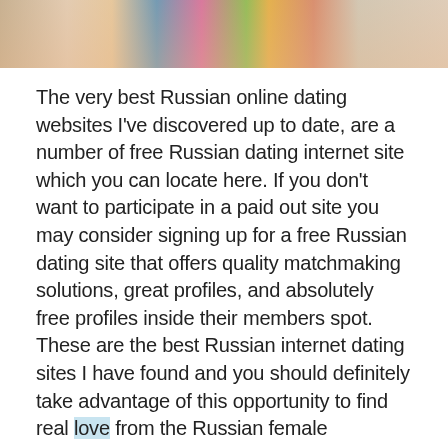[Figure (photo): Cropped top portion of a photo showing two people, colorful clothing visible at top]
The very best Russian online dating websites I've discovered up to date, are a number of free Russian dating internet site which you can locate here. If you don't want to participate in a paid out site you may consider signing up for a free Russian dating site that offers quality matchmaking solutions, great profiles, and absolutely free profiles inside their members spot. These are the best Russian internet dating sites I have found and you should definitely take advantage of this opportunity to find real love from the Russian female population.
Account: Many of these Russian dating websites will give you the capability to create your profile online. This can be one of the best ways to see other people about you and gives other users an idea of what type of person you are. Also it will allow you to